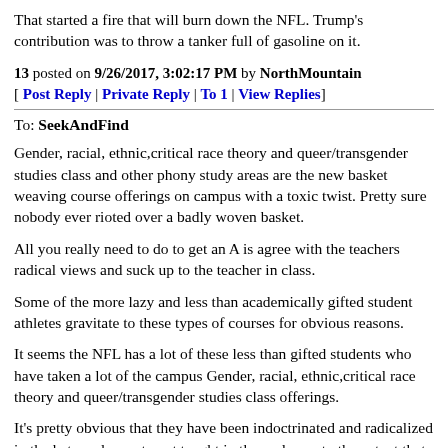That started a fire that will burn down the NFL. Trump's contribution was to throw a tanker full of gasoline on it.
13 posted on 9/26/2017, 3:02:17 PM by NorthMountain
[ Post Reply | Private Reply | To 1 | View Replies]
To: SeekAndFind
Gender, racial, ethnic,critical race theory and queer/transgender studies class and other phony study areas are the new basket weaving course offerings on campus with a toxic twist. Pretty sure nobody ever rioted over a badly woven basket.
All you really need to do to get an A is agree with the teachers radical views and suck up to the teacher in class.
Some of the more lazy and less than academically gifted student athletes gravitate to these types of courses for obvious reasons.
It seems the NFL has a lot of these less than gifted students who have taken a lot of the campus Gender, racial, ethnic,critical race theory and queer/transgender studies class offerings.
It's pretty obvious that they have been indoctrinated and radicalized in the hate and resentment taught in these classes to the extent that they are unable to realize the sweet gig they have.